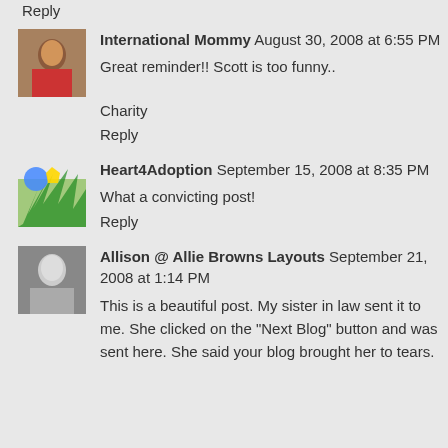Reply
International Mommy August 30, 2008 at 6:55 PM
Great reminder!! Scott is too funny..
Charity
Reply
Heart4Adoption September 15, 2008 at 8:35 PM
What a convicting post!
Reply
Allison @ Allie Browns Layouts September 21, 2008 at 1:14 PM
This is a beautiful post. My sister in law sent it to me. She clicked on the "Next Blog" button and was sent here. She said your blog brought her to tears.